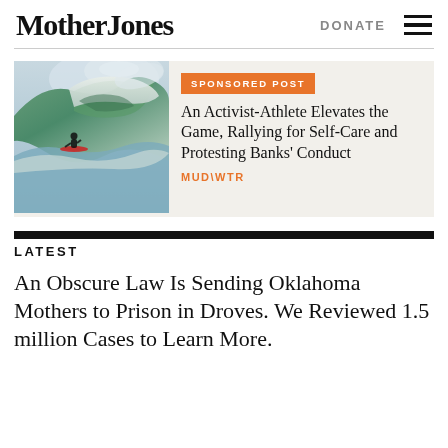Mother Jones
DONATE
[Figure (photo): Surfer riding a massive ocean wave]
SPONSORED POST
An Activist-Athlete Elevates the Game, Rallying for Self-Care and Protesting Banks' Conduct
MUD\WTR
LATEST
An Obscure Law Is Sending Oklahoma Mothers to Prison in Droves. We Reviewed 1.5 million Cases to Learn More.